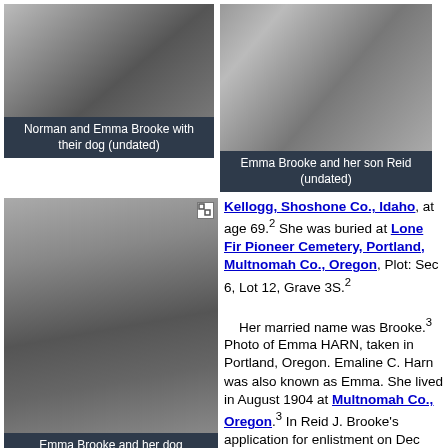[Figure (photo): Black and white photo of Norman and Emma Brooke standing with their dog outdoors]
Norman and Emma Brooke with their dog (undated)
[Figure (photo): Black and white photo of Emma Brooke and her son Reid standing outdoors]
Emma Brooke and her son Reid (undated)
[Figure (photo): Black and white photo of Emma Brooke standing outdoors with her dog]
Emma Brooke and her dog (undated)
Kellogg, Shoshone Co., Idaho, at age 69.2 She was buried at Lone Fir Pioneer Cemetery, Portland, Multnomah Co., Oregon, Plot: Sec 6, Lot 12, Grave 3S.2 Her married name was Brooke.3 Photo of Emma HARN, taken in Portland, Oregon. Emaline C. Harn was also known as Emma. She lived in August 1904 at Multnomah Co., Oregon.3 In Reid J. Brooke's application for enlistment on Dec 1941, his parents were
still alive.